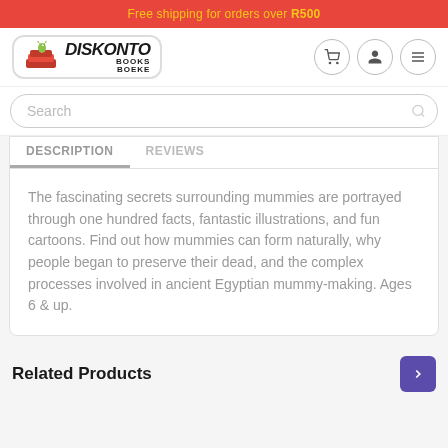Free shipping for orders over R500
[Figure (logo): Diskonto Books Boeke logo with cartoon worm on red books]
Search
Description   Reviews
The fascinating secrets surrounding mummies are portrayed through one hundred facts, fantastic illustrations, and fun cartoons. Find out how mummies can form naturally, why people began to preserve their dead, and the complex processes involved in ancient Egyptian mummy-making. Ages 6 & up.
Related Products